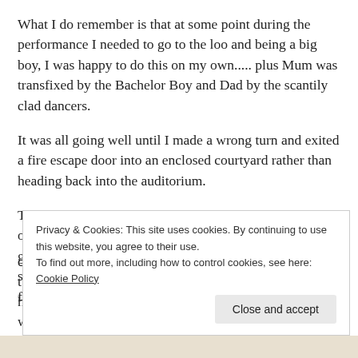What I do remember is that at some point during the performance I needed to go to the loo and being a big boy, I was happy to do this on my own..... plus Mum was transfixed by the Bachelor Boy and Dad by the scantily clad dancers.
It was all going well until I made a wrong turn and exited a fire escape door into an enclosed courtyard rather than heading back into the auditorium.
The fire door slammed shut behind me and I was locked out of the theatre with no means of getting back in OR getting out of the enclosed courtyard, I remember shouting for my Dad in vain and it felt like I was there for hours but he was clearly
Privacy & Cookies: This site uses cookies. By continuing to use this website, you agree to their use.
To find out more, including how to control cookies, see here: Cookie Policy